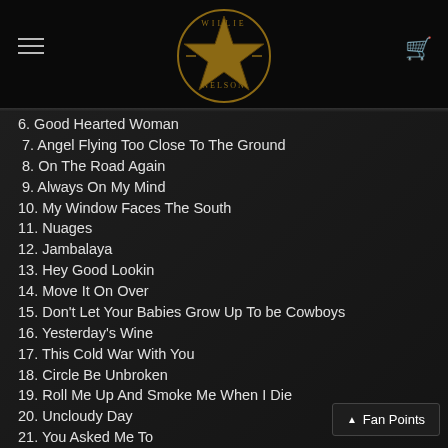Willie Nelson logo header
6. Good Hearted Woman
7. Angel Flying Too Close To The Ground
8. On The Road Again
9. Always On My Mind
10. My Window Faces The South
11. Nuages
12. Jambalaya
13. Hey Good Lookin
14. Move It On Over
15. Don't Let Your Babies Grow Up To be Cowboys
16. Yesterday's Wine
17. This Cold War With You
18. Circle Be Unbroken
19. Roll Me Up And Smoke Me When I Die
20. Uncloudy Day
21. You Asked Me To
22. City Of New Orleans